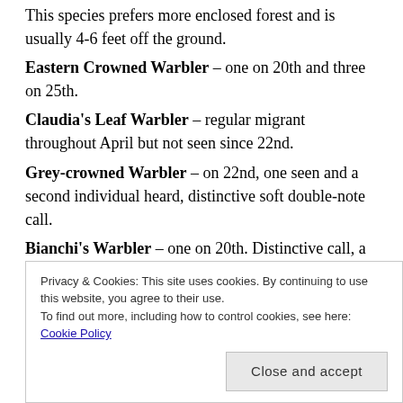This species prefers more enclosed forest and is usually 4-6 feet off the ground.
Eastern Crowned Warbler – one on 20th and three on 25th.
Claudia's Leaf Warbler – regular migrant throughout April but not seen since 22nd.
Grey-crowned Warbler – on 22nd, one seen and a second individual heard, distinctive soft double-note call.
Bianchi's Warbler – one on 20th. Distinctive call, a soft, slightly cracked-sounding "heu". Other seicercus
Privacy & Cookies: This site uses cookies. By continuing to use this website, you agree to their use. To find out more, including how to control cookies, see here: Cookie Policy
Close and accept